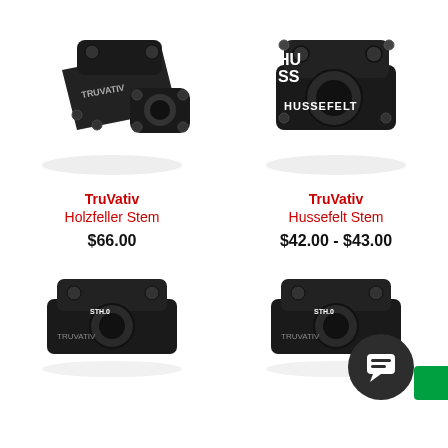[Figure (photo): TruVativ Holzfeller Stem bicycle handlebar stem, matte black, angled front view]
[Figure (photo): TruVativ Hussefelt Stem bicycle handlebar stem, matte black with HUSSEFELT text, front view]
TruVativ
Holzfeller Stem
$66.00
TruVativ
Hussefelt Stem
$42.00 - $43.00
[Figure (photo): TruVativ stem bicycle handlebar stem, matte black, bottom-left product, partially visible]
[Figure (photo): TruVativ stem bicycle handlebar stem, matte black, bottom-right product, partially visible with chat overlay]